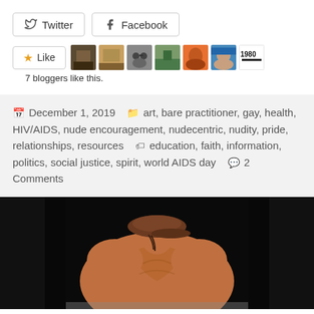Twitter  Facebook
★ Like  7 bloggers like this.
December 1, 2019   art, bare practitioner, gay, health, HIV/AIDS, nude encouragement, nudecentric, nudity, pride, relationships, resources   education, faith, information, politics, social justice, spirit, world AIDS day   2 Comments
[Figure (photo): Photo of person from behind, wearing a brown cap, bare upper body, black background]